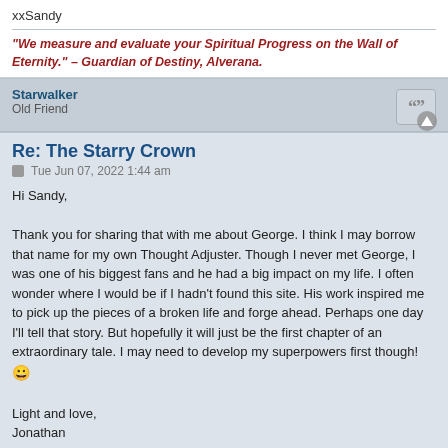xxSandy
"We measure and evaluate your Spiritual Progress on the Wall of Eternity." – Guardian of Destiny, Alverana.
Starwalker
Old Friend
Re: The Starry Crown
Tue Jun 07, 2022 1:44 am
Hi Sandy,

Thank you for sharing that with me about George. I think I may borrow that name for my own Thought Adjuster. Though I never met George, I was one of his biggest fans and he had a big impact on my life. I often wonder where I would be if I hadn't found this site. His work inspired me to pick up the pieces of a broken life and forge ahead. Perhaps one day I'll tell that story. But hopefully it will just be the first chapter of an extraordinary tale. I may need to develop my superpowers first though! 😊

Light and love,
Jonathan